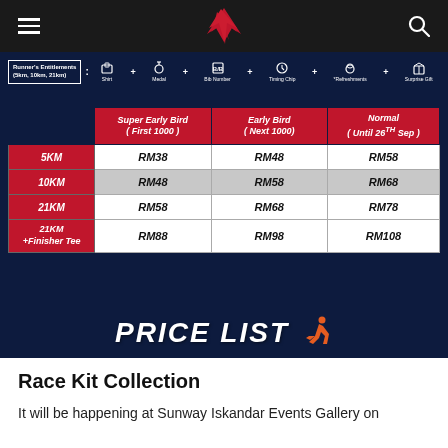Navigation bar with hamburger menu, logo, and search icon
[Figure (table-as-image): Race price list table on dark navy background. Runner's Entitlements (5km, 10km, 21km): Shirt + Medal + Bib Number + Timing Chip + Refreshments + Surprise Gift. Pricing table: columns Super Early Bird (First 1000), Early Bird (Next 1000), Normal (Until 26th Sep). Rows: 5KM RM38/RM48/RM58; 10KM RM48/RM58/RM68; 21KM RM58/RM68/RM78; 21KM+Finisher Tee RM88/RM98/RM108. PRICE LIST heading at bottom.]
Race Kit Collection
It will be happening at Sunway Iskandar Events Gallery on